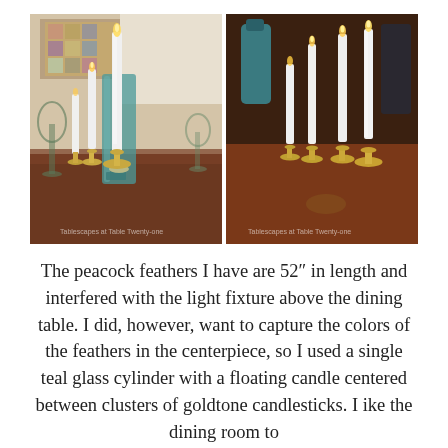[Figure (photo): Two side-by-side photos of a dining table centerpiece featuring white taper candles in gold/brass candlesticks with a teal glass cylinder vase. Left photo shows three candles with a teal cylinder and glass goblets in background. Right photo shows four candles in brass candlestick holders on a dark wood table.]
The peacock feathers I have are 52″ in length and interfered with the light fixture above the dining table. I did, however, want to capture the colors of the feathers in the centerpiece, so I used a single teal glass cylinder with a floating candle centered between clusters of goldtone candlesticks. I ike the dining room to